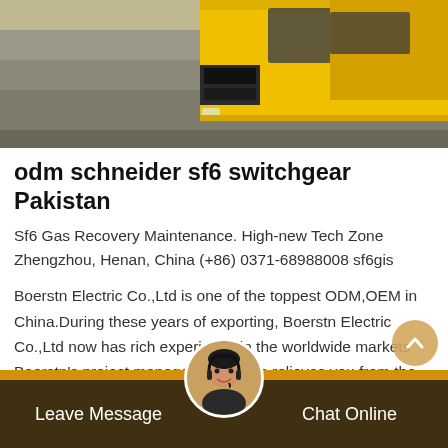[Figure (photo): Photograph showing yellow truck(s) parked in an industrial facility or warehouse, viewed from a low angle with grey concrete floor visible.]
odm schneider sf6 switchgear Pakistan
Sf6 Gas Recovery Maintenance. High-new Tech Zone Zhengzhou, Henan, China (+86) 0371-68988008 sf6gis
Boerstn Electric Co.,Ltd is one of the toppest ODM,OEM in China.During these years of exporting, Boerstn Electric Co.,Ltd now has rich experience in the worldwide markets Boerstn's project management group relieves you from the burden of multi-supplier
[Figure (photo): Customer service avatar: circular photo of a woman wearing a headset, used as a chat/contact button at the bottom of the page.]
Leave Message   Chat Online